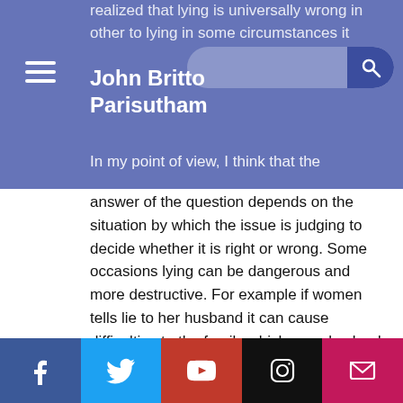John Britto Parisutham
realized that lying is universally wrong in other to lying in some circumstances it
In my point of view, I think that the answer of the question depends on the situation by which the issue is judging to decide whether it is right or wrong. Some occasions lying can be dangerous and more destructive. For example if women tells lie to her husband it can cause difficulties to the family which can also lead a probable break down of the togetherness of the family.
I found this discussion interesting, I experienced that ethics is broader than how it seems, it is not just prohibiting
Facebook | Twitter | YouTube | Instagram | Email